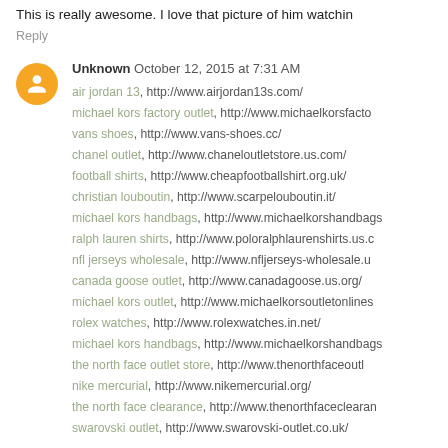This is really awesome. I love that picture of him watchin
Reply
Unknown October 12, 2015 at 7:31 AM
air jordan 13, http://www.airjordan13s.com/
michael kors factory outlet, http://www.michaelkorsfacto
vans shoes, http://www.vans-shoes.cc/
chanel outlet, http://www.chaneloutletstore.us.com/
football shirts, http://www.cheapfootballshirt.org.uk/
christian louboutin, http://www.scarpelouboutin.it/
michael kors handbags, http://www.michaelkorshandbags
ralph lauren shirts, http://www.poloralphlaurenshirts.us.c
nfl jerseys wholesale, http://www.nfljerseys-wholesale.u
canada goose outlet, http://www.canadagoose.us.org/
michael kors outlet, http://www.michaelkorsoutletonlines
rolex watches, http://www.rolexwatches.in.net/
michael kors handbags, http://www.michaelkorshandbags
the north face outlet store, http://www.thenorthfaceoutl
nike mercurial, http://www.nikemercurial.org/
the north face clearance, http://www.thenorthfaceclearan
swarovski outlet, http://www.swarovski-outlet.co.uk/